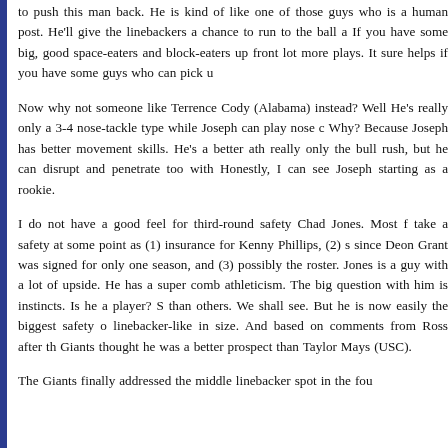to push this man back. He is kind of like one of those guys who is a human post. He'll give the linebackers a chance to run to the ball a If you have some big, good space-eaters and block-eaters up front lot more plays. It sure helps if you have some guys who can pick u
Now why not someone like Terrence Cody (Alabama) instead? Well He's really only a 3-4 nose-tackle type while Joseph can play nose c Why? Because Joseph has better movement skills. He's a better ath really only the bull rush, but he can disrupt and penetrate too with Honestly, I can see Joseph starting as a rookie.
I do not have a good feel for third-round safety Chad Jones. Most f take a safety at some point as (1) insurance for Kenny Phillips, (2) s since Deon Grant was signed for only one season, and (3) possibly the roster. Jones is a guy with a lot of upside. He has a super comb athleticism. The big question with him is instincts. Is he a player? S than others. We shall see. But he is now easily the biggest safety o linebacker-like in size. And based on comments from Ross after th Giants thought he was a better prospect than Taylor Mays (USC).
The Giants finally addressed the middle linebacker spot in the fou